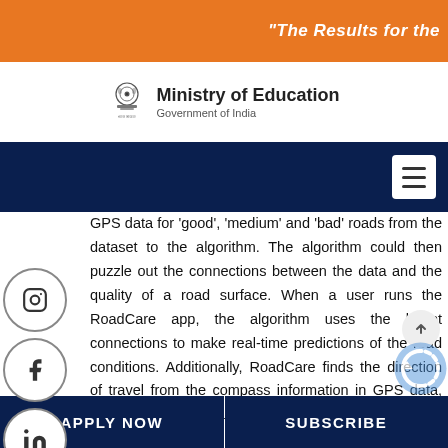"The Results for the
[Figure (logo): Ministry of Education, Government of India emblem and text]
GPS data for 'good', 'medium' and 'bad' roads from the dataset to the algorithm. The algorithm could then puzzle out the connections between the data and the quality of a road surface. When a user runs the RoadCare app, the algorithm uses the learnt connections to make real-time predictions of the road conditions. Additionally, RoadCare finds the direction of travel from the compass information in GPS data, and provides road quality data to the user only for the road they are on and not the opposite lane.
RoadCare works with data collected from phones held or placed in any orientation. "Since we crowdsource
APPLY NOW   SUBSCRIBE